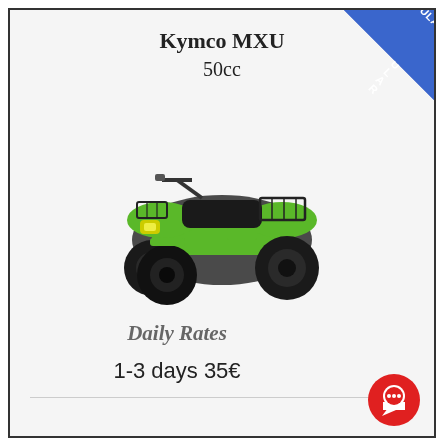Kymco MXU
50cc
[Figure (photo): Green Kymco MXU 50cc ATV quad bike, viewed from front-left angle, with cargo rack on front and rear, black wheels, green body panels.]
Daily Rates
1-3 days 35€